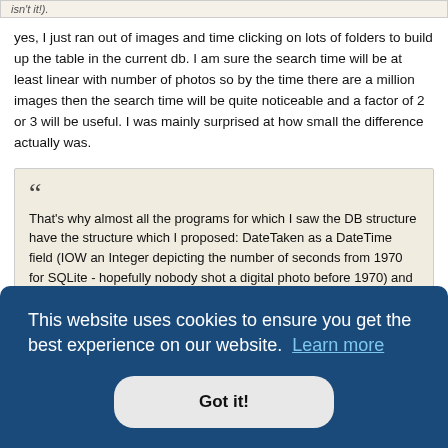isn't it!).
yes, I just ran out of images and time clicking on lots of folders to build up the table in the current db. I am sure the search time will be at least linear with number of photos so by the time there are a million images then the search time will be quite noticeable and a factor of 2 or 3 will be useful. I was mainly surprised at how small the difference actually was.
That's why almost all the programs for which I saw the DB structure have the structure which I proposed: DateTaken as a DateTime field (IOW an Integer depicting the number of seconds from 1970 for SQLite - hopefully nobody shot a digital photo before 1970) and the other field DateDigitized (or in some cases the same DateTaken) being broken in three: Year, Month, Day.
re the
not very
This website uses cookies to ensure you get the best experience on our website.
Got it!
t mean I will never want to search them by date taken (at least for those with